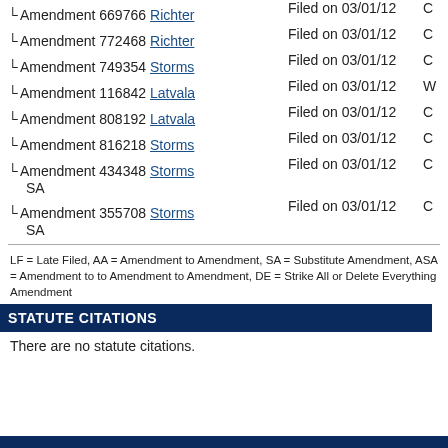└ Amendment 669766 Richter   Filed on 03/01/12  C
└ Amendment 772468 Richter   Filed on 03/01/12  C
└ Amendment 749354 Storms    Filed on 03/01/12  C
└ Amendment 116842 Latvala   Filed on 03/01/12  W
└ Amendment 808192 Latvala   Filed on 03/01/12  C
└ Amendment 816218 Storms    Filed on 03/01/12  C
└ Amendment 434348 Storms    Filed on 03/01/12  C
SA
└ Amendment 355708 Storms    Filed on 03/01/12  C
SA
LF = Late Filed, AA = Amendment to Amendment, SA = Substitute Amendment, ASA = Amendment to to Amendment to Amendment, DE = Strike All or Delete Everything Amendment
STATUTE CITATIONS
There are no statute citations.